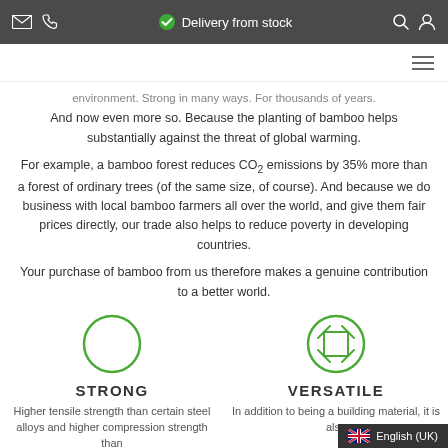Delivery from stock
environment. Strong in many ways. For thousands of years. And now even more so. Because the planting of bamboo helps substantially against the threat of global warming.
For example, a bamboo forest reduces CO2 emissions by 35% more than a forest of ordinary trees (of the same size, of course). And because we do business with local bamboo farmers all over the world, and give them fair prices directly, our trade also helps to reduce poverty in developing countries.
Your purchase of bamboo from us therefore makes a genuine contribution to a better world.
[Figure (illustration): Circle icon for STRONG feature]
STRONG
Higher tensile strength than certain steel alloys and higher compression strength than...
[Figure (illustration): Circle icon with expand arrows for VERSATILE feature]
VERSATILE
In addition to being a building material, it is also...
English (UK)